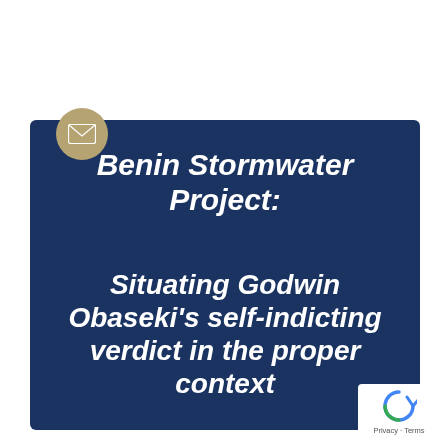[Figure (illustration): Email envelope icon in a gold/tan circle, positioned at top-left of the dark blue card]
Benin Stormwater Project:
Situating Godwin Obaseki's self-indicting verdict in the proper context
[Figure (logo): Google reCAPTCHA badge with rotating arrows icon and 'Privacy - Terms' text]